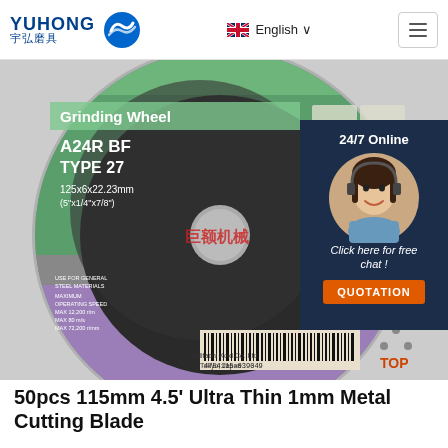YUHONG 宇弘磨具 — English
[Figure (photo): A grinding wheel disc with green and purple label showing 'Grinding Wheel A24R BF TYPE 27 125x6x22.23mm' with barcode and Hitachi Koki Co., Ltd. Tokyo, Japan text. Overlay shows a customer service agent with '24/7 Online' and 'Click here for free chat!' and a QUOTATION button.]
50pcs 115mm 4.5' Ultra Thin 1mm Metal Cutting Blade